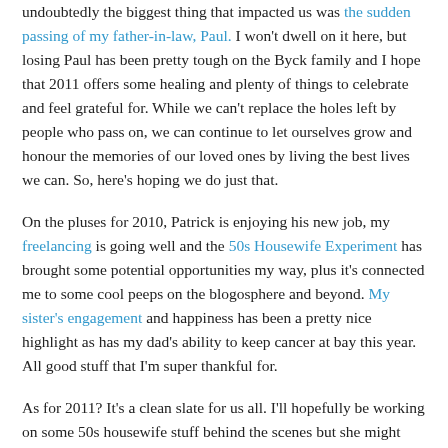undoubtedly the biggest thing that impacted us was the sudden passing of my father-in-law, Paul. I won't dwell on it here, but losing Paul has been pretty tough on the Byck family and I hope that 2011 offers some healing and plenty of things to celebrate and feel grateful for. While we can't replace the holes left by people who pass on, we can continue to let ourselves grow and honour the memories of our loved ones by living the best lives we can. So, here's hoping we do just that.
On the pluses for 2010, Patrick is enjoying his new job, my freelancing is going well and the 50s Housewife Experiment has brought some potential opportunities my way, plus it's connected me to some cool peeps on the blogosphere and beyond. My sister's engagement and happiness has been a pretty nice highlight as has my dad's ability to keep cancer at bay this year. All good stuff that I'm super thankful for.
As for 2011? It's a clean slate for us all. I'll hopefully be working on some 50s housewife stuff behind the scenes but she might resurface on the blog again - you never know! I'm toying with the idea of doing a 1940s Housewife Experiment (I have oodles of resources, specifically